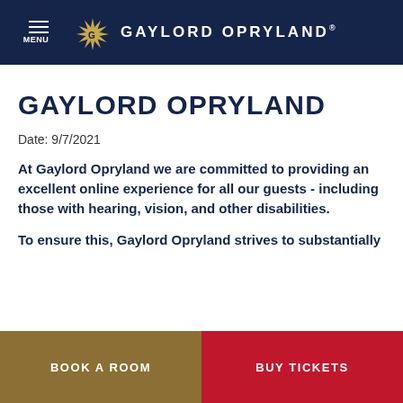MENU | GAYLORD OPRYLAND®
GAYLORD OPRYLAND
Date: 9/7/2021
At Gaylord Opryland we are committed to providing an excellent online experience for all our guests - including those with hearing, vision, and other disabilities.
To ensure this, Gaylord Opryland strives to substantially
BOOK A ROOM   BUY TICKETS